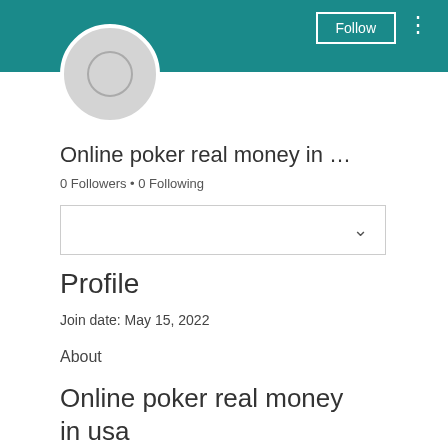[Figure (screenshot): Social media profile page screenshot showing a teal header banner with a Follow button and three-dot menu, a circular avatar placeholder, username, follower/following counts, a dropdown box, and profile section.]
Online poker real money in …
0 Followers • 0 Following
Profile
Join date: May 15, 2022
About
Online poker real money in usa